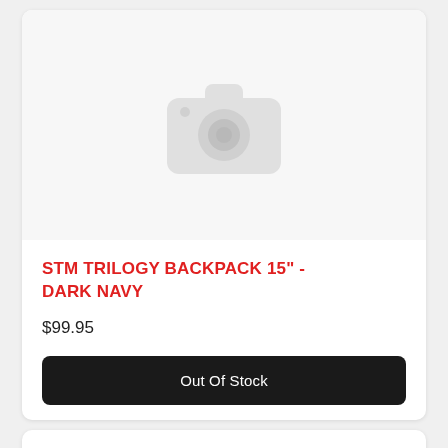[Figure (photo): Product card with camera placeholder image (no photo available), product title in red, price, and out of stock button]
STM TRILOGY BACKPACK 15" - DARK NAVY
$99.95
Out Of Stock